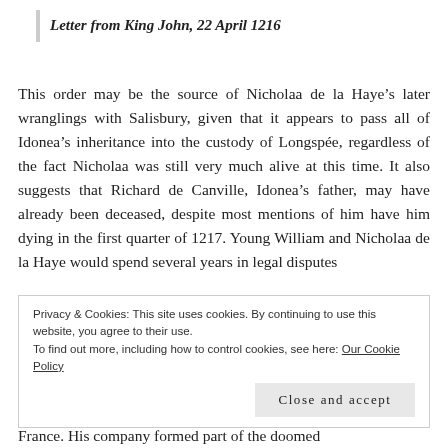Letter from King John, 22 April 1216
This order may be the source of Nicholaa de la Haye’s later wranglings with Salisbury, given that it appears to pass all of Idonea’s inheritance into the custody of Longspée, regardless of the fact Nicholaa was still very much alive at this time. It also suggests that Richard de Canville, Idonea’s father, may have already been deceased, despite most mentions of him have him dying in the first quarter of 1217. Young William and Nicholaa de la Haye would spend several years in legal disputes
Privacy & Cookies: This site uses cookies. By continuing to use this website, you agree to their use.
To find out more, including how to control cookies, see here: Our Cookie Policy
France. His company formed part of the doomed